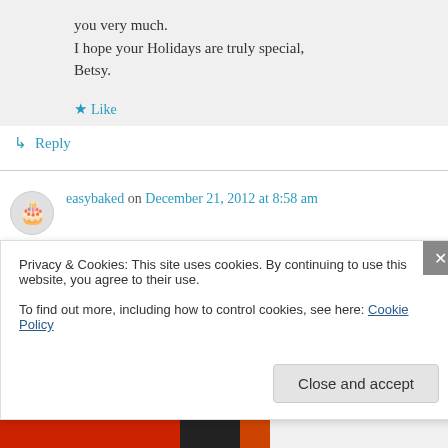you very much.
I hope your Holidays are truly special,
Betsy.
★ Like
↳ Reply
easybaked on December 21, 2012 at 8:58 am
Yikes….I would “never” kill and dress my own eels. My best friend lives in Prague and they
Privacy & Cookies: This site uses cookies. By continuing to use this website, you agree to their use.
To find out more, including how to control cookies, see here: Cookie Policy
Close and accept